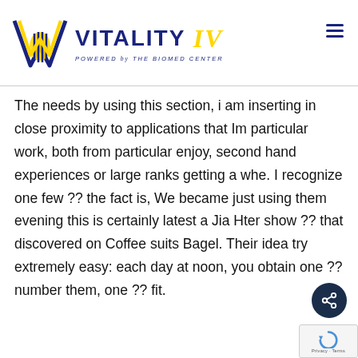[Figure (logo): Vitality IV logo — DNA helix graphic in navy blue and gold, with text 'VITALITY IV' in navy and italic gold slash, subtitle 'POWERED by THE BIOMED CENTER' in navy small caps]
The needs by using this section, i am inserting in close proximity to applications that Im particular work, both from particular enjoy, second hand experiences or large ranks getting a whe. I recognize one few ?? the fact is, We became just using them evening this is certainly latest a Jia Hter show ?? that discovered on Coffee suits Bagel. Their idea try extremely easy: each day at noon, you obtain one ?? number them, one ?? fit.